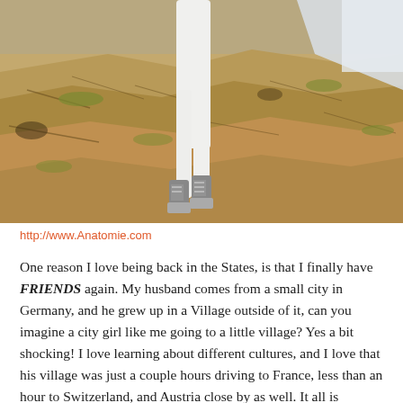[Figure (photo): Person standing on rocky terrain in white pants and sparkly sneakers, with water visible in the background. Only the lower body is visible.]
http://www.Anatomie.com
One reason I love being back in the States, is that I finally have FRIENDS again. My husband comes from a small city in Germany, and he grew up in a Village outside of it, can you imagine a city girl like me going to a little village? Yes a bit shocking! I love learning about different cultures, and I love that his village was just a couple hours driving to France, less than an hour to Switzerland, and Austria close by as well. It all is